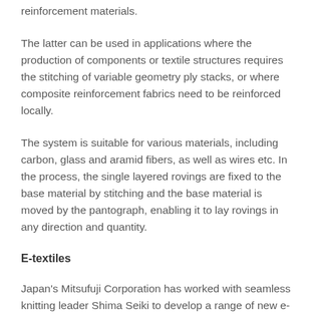reinforcement materials.
The latter can be used in applications where the production of components or textile structures requires the stitching of variable geometry ply stacks, or where composite reinforcement fabrics need to be reinforced locally.
The system is suitable for various materials, including carbon, glass and aramid fibers, as well as wires etc. In the process, the single layered rovings are fixed to the base material by stitching and the base material is moved by the pantograph, enabling it to lay rovings in any direction and quantity.
E-textiles
Japan's Mitsufuji Corporation has worked with seamless knitting leader Shima Seiki to develop a range of new e-textile applications for its Hamon-branded seamless fabrics,